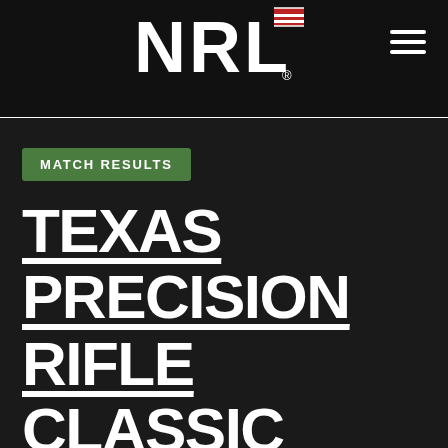NRL
MATCH RESULTS
TEXAS PRECISION RIFLE CLASSIC presented by 7 Foxtrot – Firearms